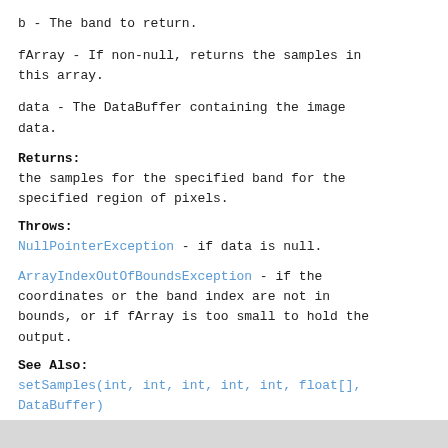b - The band to return.
fArray - If non-null, returns the samples in this array.
data - The DataBuffer containing the image data.
Returns:
the samples for the specified band for the specified region of pixels.
Throws:
NullPointerException - if data is null.
ArrayIndexOutOfBoundsException - if the coordinates or the band index are not in bounds, or if fArray is too small to hold the output.
See Also:
setSamples(int, int, int, int, int, float[], DataBuffer)